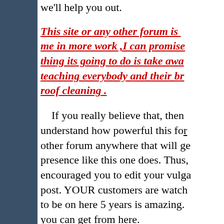we'll help you out.
This site or any other forum is me in more work ,I can promise thing its going to do is take awa teaching everybody and their br roof cleaning .
If you really believe that, then understand how powerful this for other forum anywhere that will ge presence like this one does. Thus encouraged you to edit your vulga post. YOUR customers are watch to be on here 5 years is amazing. you can get from here.
And if you don't watch it I'm gc on the bilboards right there on Expressway and take all your rc
Petty thing to say there Steve, true colors. Word of advice thou you, and offered to help you. Did way, because my intentions were